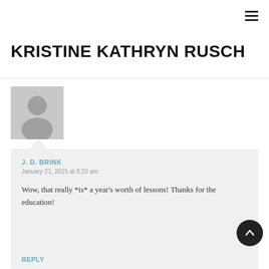KRISTINE KATHRYN RUSCH
[Figure (photo): Default user avatar placeholder image — grey silhouette of a person on light grey background]
J. D. BRINK
January 21, 2015 at 8:23 am

Wow, that really *is* a year's worth of lessons! Thanks for the education!

Reply